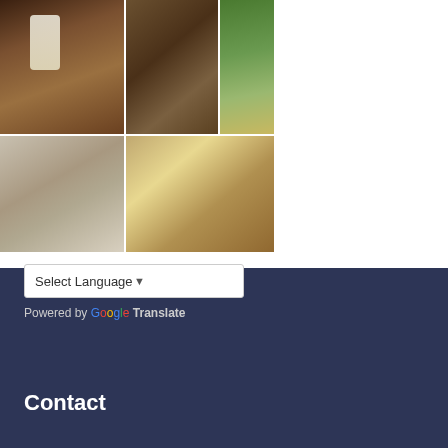[Figure (photo): Photo 1: Glass of milk or drink on dark wooden table with a candle or bottle nearby]
[Figure (photo): Photo 2: Close-up of dried leaves or plant material on a brown background]
[Figure (photo): Photo 3: Outdoor scene with trees, green grass and a bench or fence in autumn]
[Figure (photo): Photo 4: Bedroom interior with bookshelf, desk, photos on wall, and bed with white linens]
[Figure (photo): Photo 5: Bedroom with unmade bed and bright window light, dark dresser]
Select Language
Powered by Google Translate
Contact